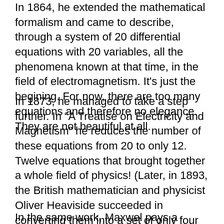In 1864, he extended the mathematical formalism and came to describe, through a system of 20 differential equations with 20 variables, all the phenomena known at that time, in the field of electromagnetism. It's just the begining. For now, there are too many equations and therefore no elegance. They are not beautiful at all.
In 1873, he managed to take a step further. In “A Treatise on Electricity and Magnetism” he reduces the number of these equations from 20 to only 12. Twelve equations that brought together a whole field of physics! (Later, in 1893, the British mathematician and physicist Oliver Heaviside succeeded in converting them into a set of only four differential equations, which represent the form in which they are used today)
In the same work, Maxwel pays a beautiful homage to